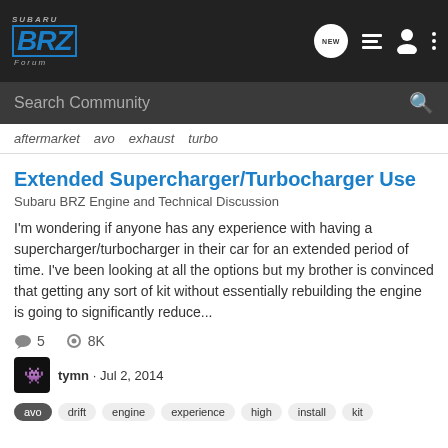Subaru BRZ Forum
Search Community
aftermarket  avo  exhaust  turbo
Extended Supercharger/Turbocharger Use
Subaru BRZ Engine and Technical Discussion
I'm wondering if anyone has any experience with having a supercharger/turbocharger in their car for an extended period of time. I've been looking at all the options but my brother is convinced that getting any sort of kit without essentially rebuilding the engine is going to significantly reduce...
5  8K
tymn · Jul 2, 2014
avo  drift  engine  experience  high  install  kit